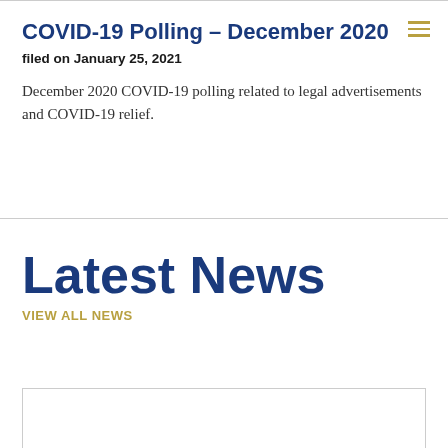COVID-19 Polling – December 2020
filed on January 25, 2021
December 2020 COVID-19 polling related to legal advertisements and COVID-19 relief.
Latest News
VIEW ALL NEWS
[Figure (other): Empty news card placeholder box]